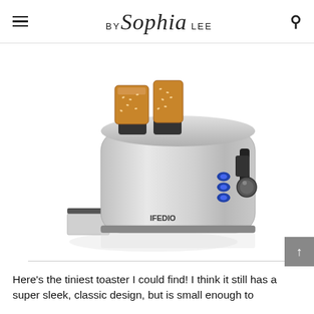BY Sophia LEE
[Figure (photo): IFEDIO stainless steel 2-slice toaster with toast popping out of the top, crumb tray visible at front-left, blue buttons and a dial on the right side]
[Figure (other): Buy from amazon.com button with orange/yellow background and Amazon arrow logo]
Here's the tiniest toaster I could find! I think it still has a super sleek, classic design, but is small enough to